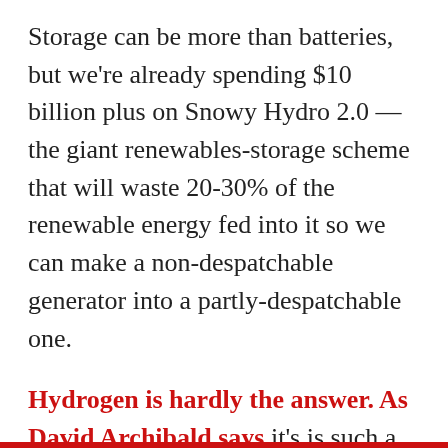Storage can be more than batteries, but we're already spending $10 billion plus on Snowy Hydro 2.0 — the giant renewables-storage scheme that will waste 20-30% of the renewable energy fed into it so we can make a non-despatchable generator into a partly-despatchable one.
Hydrogen is hardly the answer. As David Archibald says it's is such a reactive gas that there is no source of it in nature. The only naturally occurring hydrogen is the flammable part of farts. Otherwise, the cheapest way of making hydrogen is a water shift reaction with natural gas. But about 60% of the energy contained by the natural gas is wasted in the